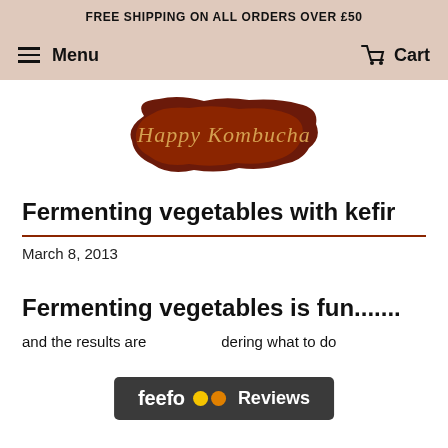FREE SHIPPING ON ALL ORDERS OVER £50
Menu  Cart
[Figure (logo): Happy Kombucha logo — dark reddish-brown irregular shape with script text reading 'Happy Kombucha']
Fermenting vegetables with kefir
March 8, 2013
Fermenting vegetables is fun.......
and the results are                  dering what to do